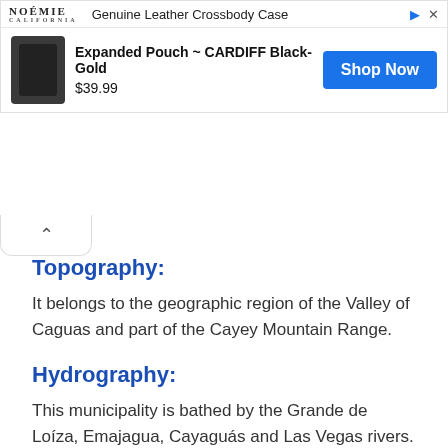[Figure (other): Advertisement banner for Noémie Genuine Leather Crossbody Case - Expanded Pouch CARDIFF Black-Gold, priced at $39.99 with a Shop Now button]
Topography:
It belongs to the geographic region of the Valley of Caguas and part of the Cayey Mountain Range.
Hydrography:
This municipality is bathed by the Grande de Loíza, Emajagua, Cayaguás and Las Vegas rivers.
Economy:
Industry (clothing, leather footwear and electromechanical equipment) and agriculture (tobacco, fruit, sugar cane and cattle).